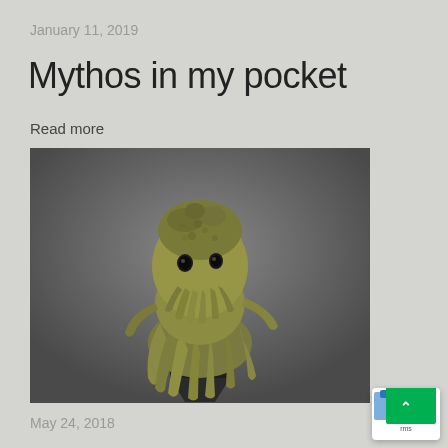January 11, 2019
Mythos in my pocket
Read more
[Figure (photo): A detailed sculpture of a Cthulhu-like creature with tentacles draping from the face, mounted on a dark wedge stand. The figure has olive-green coloring and highly detailed texture.]
May 24, 2018